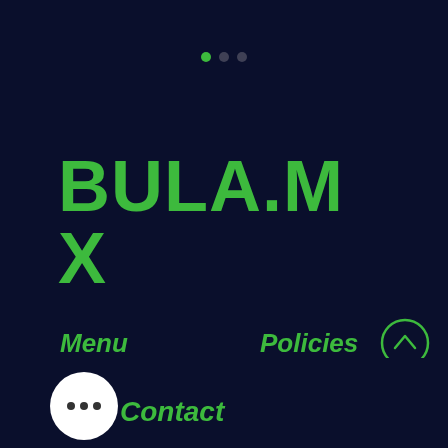[Figure (screenshot): Dark navy top bar with pagination dots]
BULA.MX
Menu
Policies
Home
About
Shop
Blog
FAQ
Store Policy
Shipping & Returns
Contact